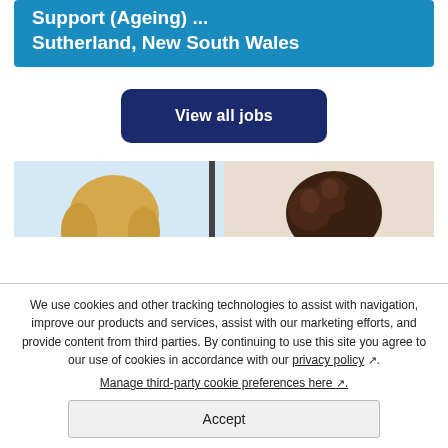Support (Ageing) ... Sutherland, New South Wales
[Figure (illustration): Button/card with text 'View all jobs' on dark navy blue rounded rectangle background]
[Figure (photo): Photo strip showing two people from behind/side — one with blonde hair on left, one with dark curly hair on right, with a room divider in center]
We use cookies and other tracking technologies to assist with navigation, improve our products and services, assist with our marketing efforts, and provide content from third parties. By continuing to use this site you agree to our use of cookies in accordance with our privacy policy. Manage third-party cookie preferences here.
Accept